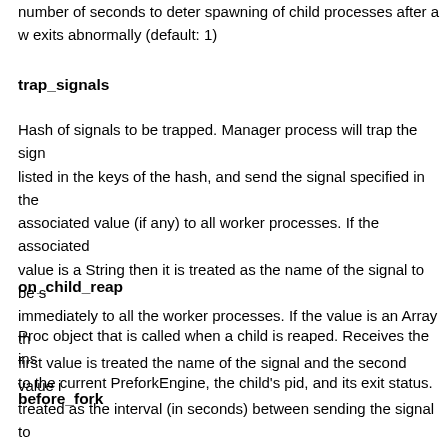number of seconds to deter spawning of child processes after a worker exits abnormally (default: 1)
trap_signals
Hash of signals to be trapped. Manager process will trap the signals listed in the keys of the hash, and send the signal specified in the associated value (if any) to all worker processes. If the associated value is a String then it is treated as the name of the signal to be sent immediately to all the worker processes. If the value is an Array the first value is treated the name of the signal and the second value is treated as the interval (in seconds) between sending the signal to each worker process.
on_child_reap
Proc object that is called when a child is reaped. Receives the instance to the current PreforkEngine, the child's pid, and its exit status.
before_fork